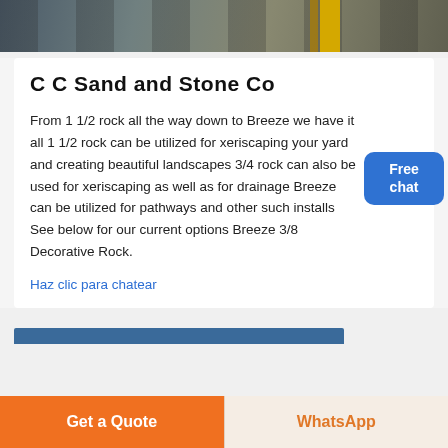[Figure (photo): Top banner image of construction equipment, sand/stone machinery with a yellow element visible]
C C Sand and Stone Co
From 1 1/2 rock all the way down to Breeze we have it all 1 1/2 rock can be utilized for xeriscaping your yard and creating beautiful landscapes 3/4 rock can also be used for xeriscaping as well as for drainage Breeze can be utilized for pathways and other such installs See below for our current options Breeze 3/8 Decorative Rock.
Haz clic para chatear